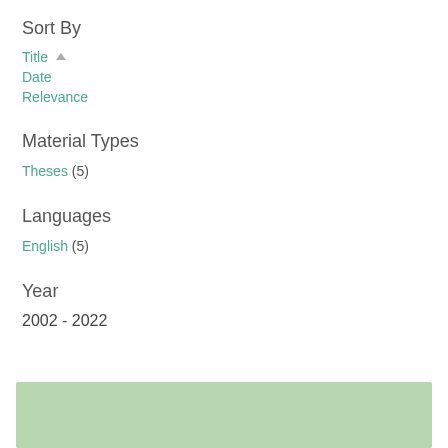Sort By
Title ▲
Date
Relevance
Material Types
Theses (5)
Languages
English (5)
Year
2002 - 2022
[Figure (other): Green/sage colored histogram or year range slider bar area at the bottom of the page]